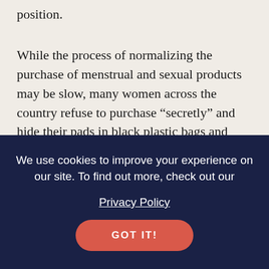position.
While the process of normalizing the purchase of menstrual and sexual products may be slow, many women across the country refuse to purchase “secretly” and hide their pads in black plastic bags and brown paper bags. Detaching shame from these shopping experiences have allowed women to confidently buy what they need which sends a
We use cookies to improve your experience on our site. To find out more, check out our
Privacy Policy
GOT IT!